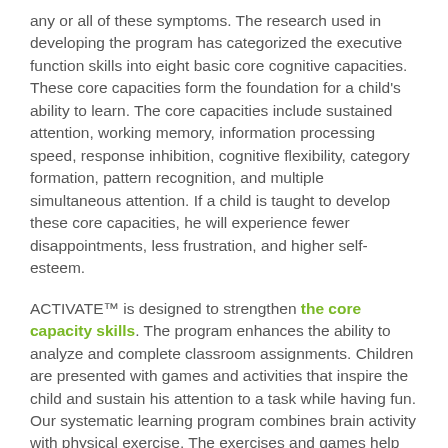any or all of these symptoms. The research used in developing the program has categorized the executive function skills into eight basic core cognitive capacities. These core capacities form the foundation for a child's ability to learn. The core capacities include sustained attention, working memory, information processing speed, response inhibition, cognitive flexibility, category formation, pattern recognition, and multiple simultaneous attention. If a child is taught to develop these core capacities, he will experience fewer disappointments, less frustration, and higher self-esteem.
ACTIVATE™ is designed to strengthen the core capacity skills. The program enhances the ability to analyze and complete classroom assignments. Children are presented with games and activities that inspire the child and sustain his attention to a task while having fun. Our systematic learning program combines brain activity with physical exercise. The exercises and games help the child develop the skills necessary to stay on task and complete assignments in the expected time frame. Specific exercises that build working memory skills and the ability to move back and forth between tasks are a basic component of the program.